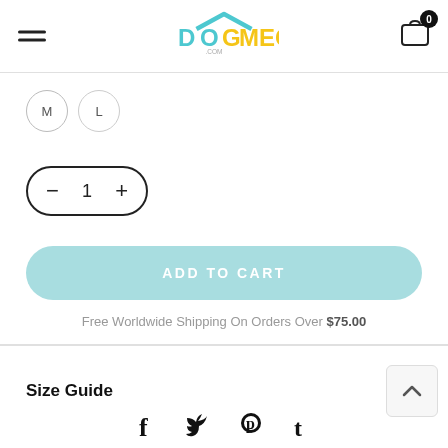DOGMEGA.com — navigation header with hamburger menu and cart icon showing 0 items
[Figure (logo): DogMega.com logo with teal D and O, yellow MEGA text, and a house roof shape above]
M
L
[Figure (other): Quantity selector showing minus button, 1, plus button in pill-shaped border]
[Figure (other): ADD TO CART button in light teal/cyan rounded rectangle]
Free Worldwide Shipping On Orders Over $75.00
Size Guide
[Figure (other): Social share icons: Facebook (f), Twitter (bird), Pinterest (p), Tumblr (t)]